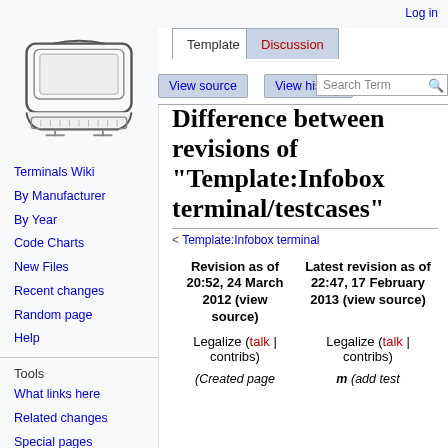Log in
[Figure (illustration): Line drawing of a vintage computer terminal with keyboard, shown from a slight angle]
Terminals Wiki
By Manufacturer
By Year
Code Charts
New Files
Recent changes
Random page
Help
Tools
What links here
Related changes
Special pages
Printable version
Difference between revisions of "Template:Infobox terminal/testcases"
< Template:Infobox terminal
| Revision as of 20:52, 24 March 2012 (view source) | Latest revision as of 22:47, 17 February 2013 (view source) |
| --- | --- |
| Legalize (talk | contribs) | Legalize (talk | contribs) |
| (Created page | m (add test |